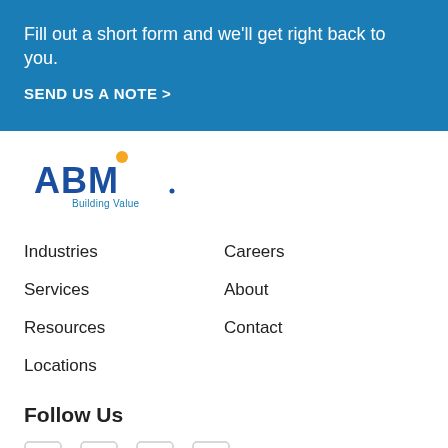Fill out a short form and we'll get right back to you.
SEND US A NOTE >
[Figure (logo): ABM Building Value logo with orange dot above the M]
Industries
Careers
Services
About
Resources
Contact
Locations
Follow Us
[Figure (illustration): Social media icons: Facebook, Twitter, LinkedIn, YouTube]